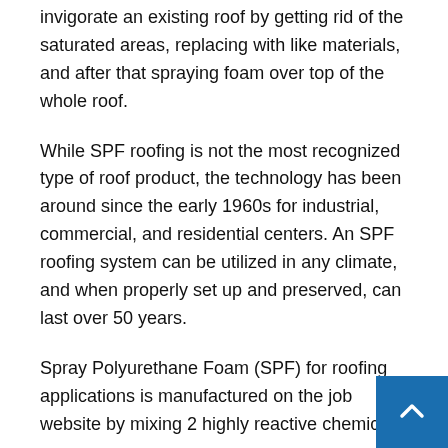invigorate an existing roof by getting rid of the saturated areas, replacing with like materials, and after that spraying foam over top of the whole roof.
While SPF roofing is not the most recognized type of roof product, the technology has been around since the early 1960s for industrial, commercial, and residential centers. An SPF roofing system can be utilized in any climate, and when properly set up and preserved, can last over 50 years.
Spray Polyurethane Foam (SPF) for roofing applications is manufactured on the job website by mixing 2 highly reactive chemicals.
The chemicals, A (polyol/resin) & B (isocyanate), are pumped from separate containers through heated, high pressure hose pipes to an internal blending spray gun.